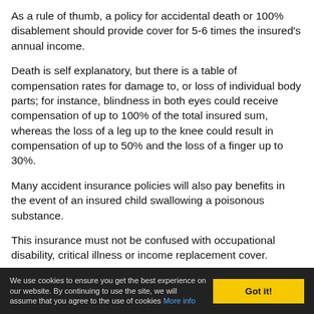As a rule of thumb, a policy for accidental death or 100% disablement should provide cover for 5-6 times the insured's annual income.
Death is self explanatory, but there is a table of compensation rates for damage to, or loss of individual body parts; for instance, blindness in both eyes could receive compensation of up to 100% of the total insured sum, whereas the loss of a leg up to the knee could result in compensation of up to 50% and the loss of a finger up to 30%.
Many accident insurance policies will also pay benefits in the event of an insured child swallowing a poisonous substance.
This insurance must not be confused with occupational disability, critical illness or income replacement cover.
We use cookies to ensure you get the best experience on our website. By continuing to use the site, we will assume that you agree to the use of cookies More info